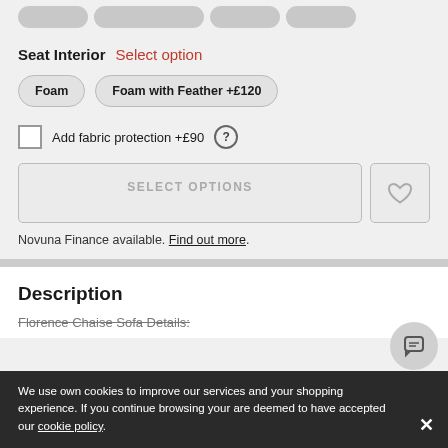Seat Interior   Select option
Foam
Foam with Feather +£120
Add fabric protection +£90 (?)
SELECT OPTIONS
Novuna Finance available. Find out more.
Description
Florence Chaise Sofa Details:
We use own cookies to improve our services and your shopping experience. If you continue browsing your are deemed to have accepted our cookie policy